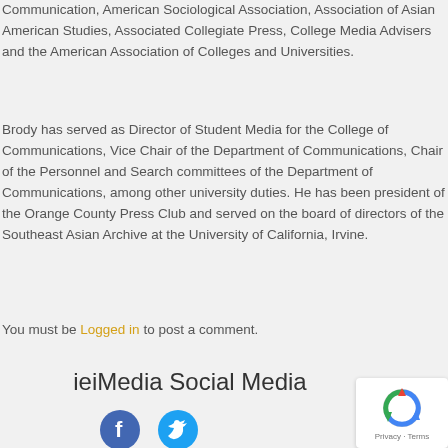Communication, American Sociological Association, Association of Asian American Studies, Associated Collegiate Press, College Media Advisers and the American Association of Colleges and Universities.
Brody has served as Director of Student Media for the College of Communications, Vice Chair of the Department of Communications, Chair of the Personnel and Search committees of the Department of Communications, among other university duties. He has been president of the Orange County Press Club and served on the board of directors of the Southeast Asian Archive at the University of California, Irvine.
You must be Logged in to post a comment.
ieiMedia Social Media